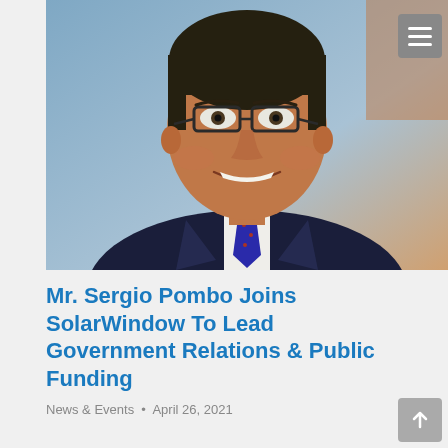[Figure (photo): Professional headshot of Mr. Sergio Pombo, a man wearing glasses, dark suit jacket, white dress shirt, and blue patterned tie, smiling at the camera against a light blue/grey background.]
Mr. Sergio Pombo Joins SolarWindow To Lead Government Relations & Public Funding
News & Events · April 26, 2021